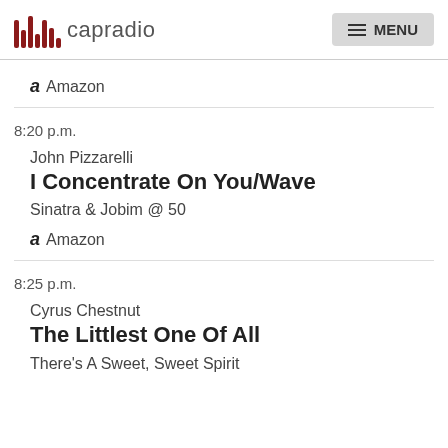capradio | MENU
Amazon
8:20 p.m.
John Pizzarelli
I Concentrate On You/Wave
Sinatra & Jobim @ 50
Amazon
8:25 p.m.
Cyrus Chestnut
The Littlest One Of All
There's A Sweet, Sweet Spirit